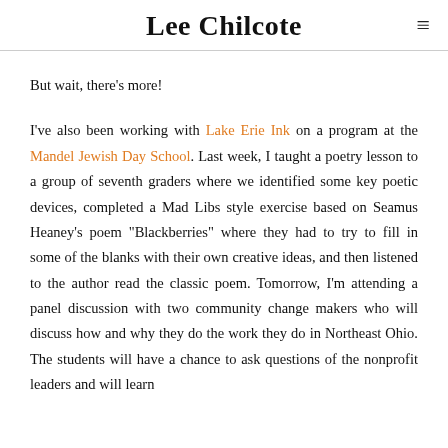Lee Chilcote
But wait, there's more!
I've also been working with Lake Erie Ink on a program at the Mandel Jewish Day School. Last week, I taught a poetry lesson to a group of seventh graders where we identified some key poetic devices, completed a Mad Libs style exercise based on Seamus Heaney's poem "Blackberries" where they had to try to fill in some of the blanks with their own creative ideas, and then listened to the author read the classic poem. Tomorrow, I'm attending a panel discussion with two community change makers who will discuss how and why they do the work they do in Northeast Ohio. The students will have a chance to ask questions of the nonprofit leaders and will learn